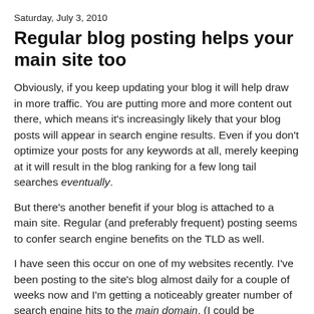Saturday, July 3, 2010
Regular blog posting helps your main site too
Obviously, if you keep updating your blog it will help draw in more traffic. You are putting more and more content out there, which means it's increasingly likely that your blog posts will appear in search engine results. Even if you don't optimize your posts for any keywords at all, merely keeping at it will result in the blog ranking for a few long tail searches eventually.
But there's another benefit if your blog is attached to a main site. Regular (and preferably frequent) posting seems to confer search engine benefits on the TLD as well.
I have seen this occur on one of my websites recently. I've been posting to the site's blog almost daily for a couple of weeks now and I'm getting a noticeably greater number of search engine hits to the main domain. (I could be mistaken, of course. There could be some other reason I'm seeing this